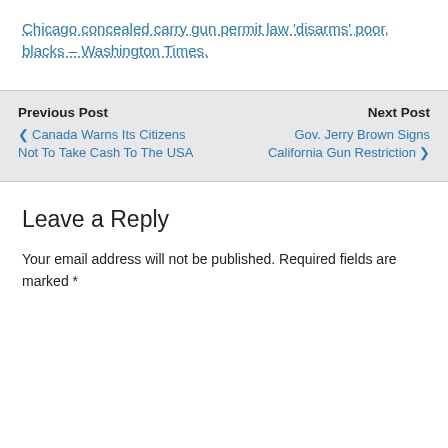Chicago concealed carry gun permit law ‘disarms’ poor, blacks – Washington Times.
Previous Post
❮ Canada Warns Its Citizens Not To Take Cash To The USA
Next Post
Gov. Jerry Brown Signs California Gun Restriction ❯
Leave a Reply
Your email address will not be published. Required fields are marked *